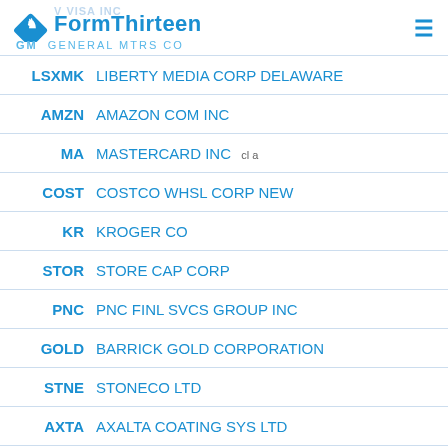FormThirteen — GM GENERAL MTRS CO
LSXMK LIBERTY MEDIA CORP DELAWARE
AMZN AMAZON COM INC
MA MASTERCARD INC cl a
COST COSTCO WHSL CORP NEW
KR KROGER CO
STOR STORE CAP CORP
PNC PNC FINL SVCS GROUP INC
GOLD BARRICK GOLD CORPORATION
STNE STONECO LTD
AXTA AXALTA COATING SYS LTD
TEVA TEVA PHARMACEUTICAL INDS LTD sponsored
LSXMA LIBERTY MEDIA CORP DELAWARE
GL GLOBE LIFE INC